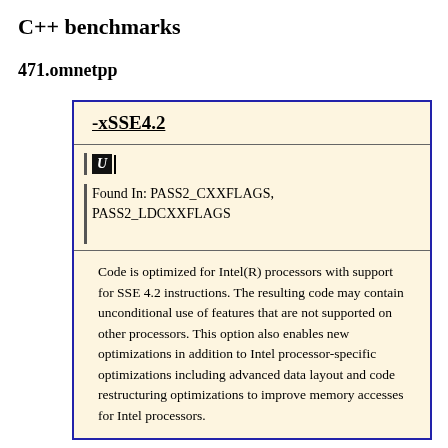C++ benchmarks
471.omnetpp
-xSSE4.2
Found In: PASS2_CXXFLAGS, PASS2_LDCXXFLAGS
Code is optimized for Intel(R) processors with support for SSE 4.2 instructions. The resulting code may contain unconditional use of features that are not supported on other processors. This option also enables new optimizations in addition to Intel processor-specific optimizations including advanced data layout and code restructuring optimizations to improve memory accesses for Intel processors.